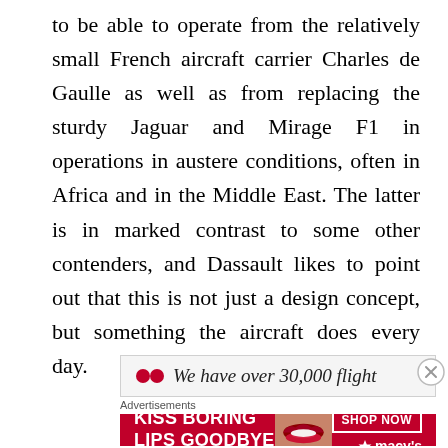to be able to operate from the relatively small French aircraft carrier Charles de Gaulle as well as from replacing the sturdy Jaguar and Mirage F1 in operations in austere conditions, often in Africa and in the Middle East. The latter is in marked contrast to some other contenders, and Dassault likes to point out that this is not just a design concept, but something the aircraft does every day.
[Figure (other): Partial view of a promotional quote box with red quotation dots and italic text reading 'We have over 30,000 flight']
Advertisements
[Figure (other): Advertisement banner for Macy's: red background with white text 'KISS BORING LIPS GOODBYE', a woman's lips photo, 'SHOP NOW' button, and Macy's star logo.]